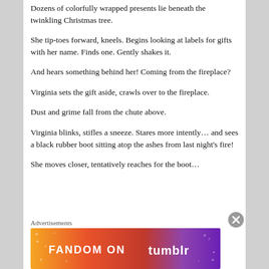Dozens of colorfully wrapped presents lie beneath the twinkling Christmas tree.
She tip-toes forward, kneels. Begins looking at labels for gifts with her name. Finds one. Gently shakes it.
And hears something behind her! Coming from the fireplace?
Virginia sets the gift aside, crawls over to the fireplace.
Dust and grime fall from the chute above.
Virginia blinks, stifles a sneeze. Stares more intently… and sees a black rubber boot sitting atop the ashes from last night's fire!
She moves closer, tentatively reaches for the boot…
Advertisements
[Figure (other): Fandom on Tumblr advertisement banner with colorful gradient background from orange to purple]